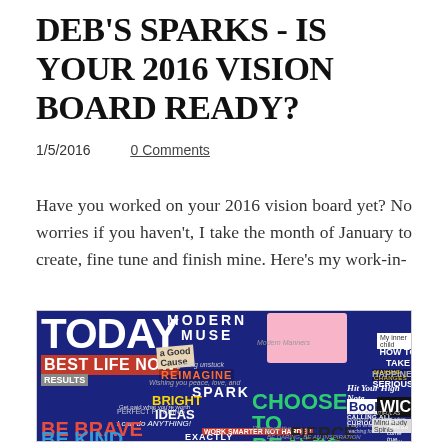DEB'S SPARKS - IS YOUR 2016 VISION BOARD READY?
1/5/2016
0 Comments
Have you worked on your 2016 vision board yet?  No worries if you haven't, I take the month of January to create, fine tune and finish mine.  Here's my work-in-
[Figure (photo): A vision board collage with colorful cut-out words and phrases including: TODAY, BEST LIFE NOW, MODERN MUSE, REIMAGINE, SPARK, BRIGHT IDEAS, CHOOSE TO BE NiCE, WICKEDLY FUN!, HOW TO TAKE HAPPINESS SERIOUSLY, BE BRAVE, BE KIND, WORK SMARTER NOT HARDER, FIERCE, JOY, and many other motivational phrases on a dark blue background.]